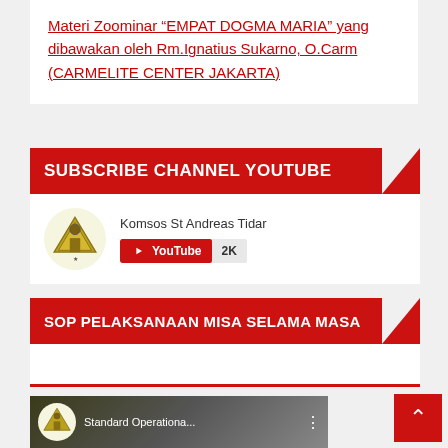Materi Zoominar “EMPAT DOGMA MARIA” yang dibawakan oleh Rm.Ignatius Sukarno, O.Carm (CARMELITE CENTER JAKARTA)
SUBSCRIBE CHANNEL YOUTUBE
[Figure (logo): Komsos St Andreas Tidar channel logo with YouTube subscribe button showing 2K subscribers]
SOP PELAKSANAAN MISA SELAMA MASA
[Figure (screenshot): Video thumbnail showing Standard Operationa... with church logo and people in background]
[Figure (other): Red back-to-top button with upward arrow]